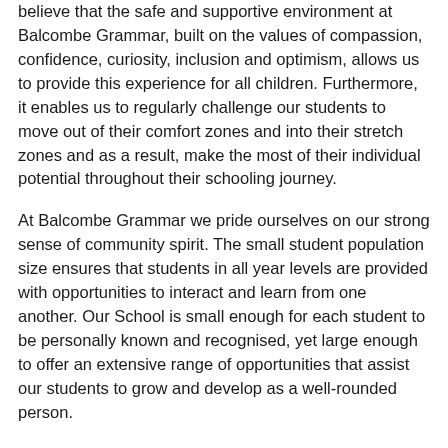believe that the safe and supportive environment at Balcombe Grammar, built on the values of compassion, confidence, curiosity, inclusion and optimism, allows us to provide this experience for all children. Furthermore, it enables us to regularly challenge our students to move out of their comfort zones and into their stretch zones and as a result, make the most of their individual potential throughout their schooling journey.
At Balcombe Grammar we pride ourselves on our strong sense of community spirit. The small student population size ensures that students in all year levels are provided with opportunities to interact and learn from one another. Our School is small enough for each student to be personally known and recognised, yet large enough to offer an extensive range of opportunities that assist our students to grow and develop as a well-rounded person.
Please take some time to explore our website as it will provide you with an overview of our academic, pastoral and co-curricular programs; however, to truly discover whether our school is the right fit for your family, I